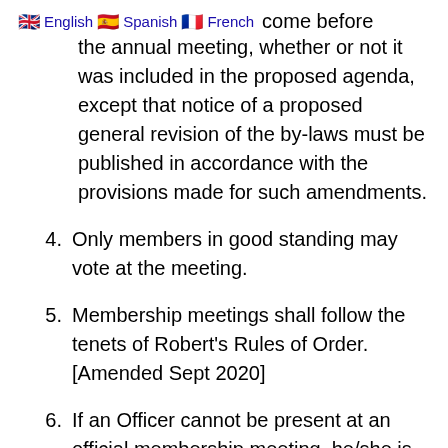English | Spanish | French
come before the annual meeting, whether or not it was included in the proposed agenda, except that notice of a proposed general revision of the by-laws must be published in accordance with the provisions made for such amendments.
4. Only members in good standing may vote at the meeting.
5. Membership meetings shall follow the tenets of Robert’s Rules of Order. [Amended Sept 2020]
6. If an Officer cannot be present at an official membership meeting, he/she is